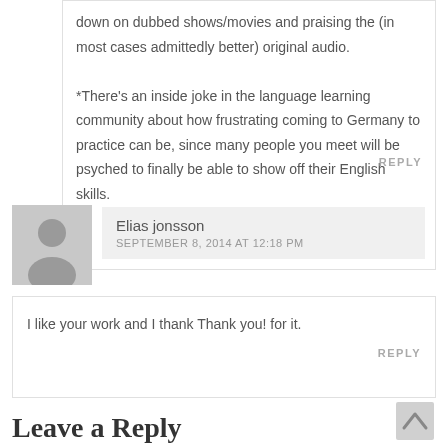down on dubbed shows/movies and praising the (in most cases admittedly better) original audio.

*There's an inside joke in the language learning community about how frustrating coming to Germany to practice can be, since many people you meet will be psyched to finally be able to show off their English skills.
REPLY
Elias jonsson
SEPTEMBER 8, 2014 AT 12:18 PM
I like your work and I thank Thank you! for it.
REPLY
Leave a Reply